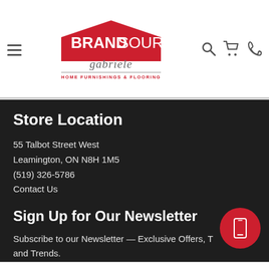[Figure (logo): BrandSource Gabriele Home Furnishings & Flooring logo with red house-shaped background and italic script]
Store Location
55 Talbot Street West
Leamington, ON N8H 1M5
(519) 326-5786
Contact Us
Sign Up for Our Newsletter
Subscribe to our Newsletter — Exclusive Offers, T... and Trends.